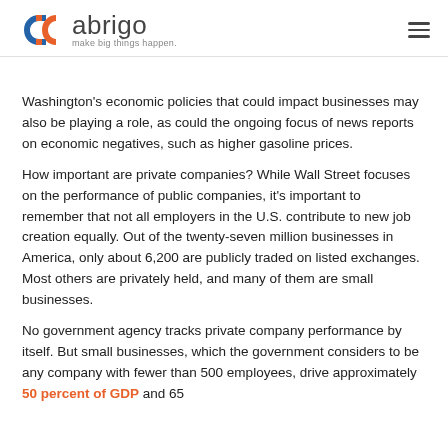abrigo — make big things happen.
Washington's economic policies that could impact businesses may also be playing a role, as could the ongoing focus of news reports on economic negatives, such as higher gasoline prices.
How important are private companies? While Wall Street focuses on the performance of public companies, it's important to remember that not all employers in the U.S. contribute to new job creation equally. Out of the twenty-seven million businesses in America, only about 6,200 are publicly traded on listed exchanges. Most others are privately held, and many of them are small businesses.
No government agency tracks private company performance by itself. But small businesses, which the government considers to be any company with fewer than 500 employees, drive approximately 50 percent of GDP and 65